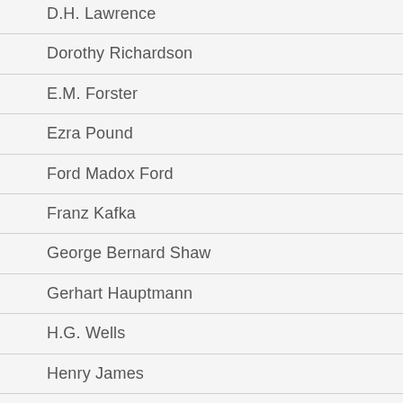D.H. Lawrence
Dorothy Richardson
E.M. Forster
Ezra Pound
Ford Madox Ford
Franz Kafka
George Bernard Shaw
Gerhart Hauptmann
H.G. Wells
Henry James
Hilda Doolittle (H.D.)
James Joyce